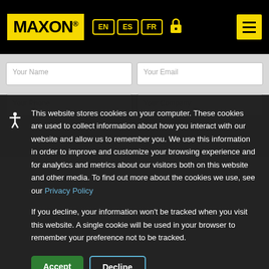MAXON® EN ES FR [lock] [menu]
[Figure (screenshot): Partially visible web form with input fields: Your Name, Your Email, Your Phone, Your Company]
This website stores cookies on your computer. These cookies are used to collect information about how you interact with our website and allow us to remember you. We use this information in order to improve and customize your browsing experience and for analytics and metrics about our visitors both on this website and other media. To find out more about the cookies we use, see our Privacy Policy

If you decline, your information won't be tracked when you visit this website. A single cookie will be used in your browser to remember your preference not to be tracked.
Accept
Decline